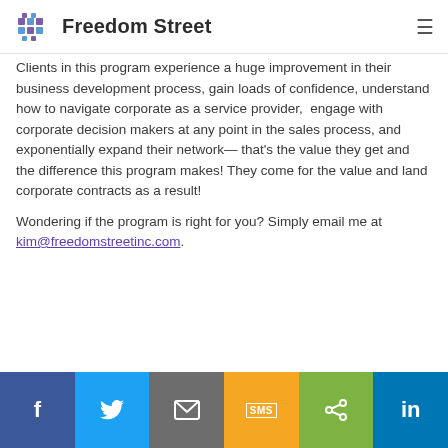Freedom Street
Clients in this program experience a huge improvement in their business development process, gain loads of confidence, understand how to navigate corporate as a service provider,  engage with corporate decision makers at any point in the sales process, and exponentially expand their network— that's the value they get and the difference this program makes! They come for the value and land corporate contracts as a result!
Wondering if the program is right for you? Simply email me at kim@freedomstreetinc.com.